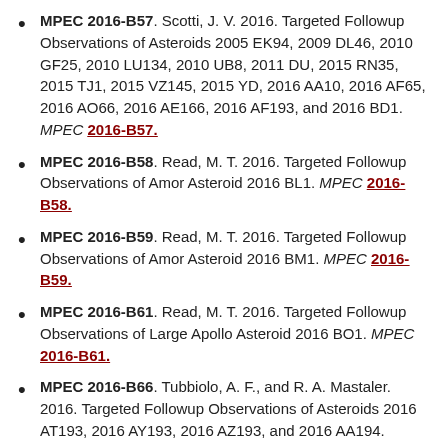MPEC 2016-B57. Scotti, J. V. 2016. Targeted Followup Observations of Asteroids 2005 EK94, 2009 DL46, 2010 GF25, 2010 LU134, 2010 UB8, 2011 DU, 2015 RN35, 2015 TJ1, 2015 VZ145, 2015 YD, 2016 AA10, 2016 AF65, 2016 AO66, 2016 AE166, 2016 AF193, and 2016 BD1. MPEC 2016-B57.
MPEC 2016-B58. Read, M. T. 2016. Targeted Followup Observations of Amor Asteroid 2016 BL1. MPEC 2016-B58.
MPEC 2016-B59. Read, M. T. 2016. Targeted Followup Observations of Amor Asteroid 2016 BM1. MPEC 2016-B59.
MPEC 2016-B61. Read, M. T. 2016. Targeted Followup Observations of Large Apollo Asteroid 2016 BO1. MPEC 2016-B61.
MPEC 2016-B66. Tubbiolo, A. F., and R. A. Mastaler. 2016. Targeted Followup Observations of Asteroids 2016 AT193, 2016 AY193, 2016 AZ193, and 2016 AA194. MPEC 2016-B66.